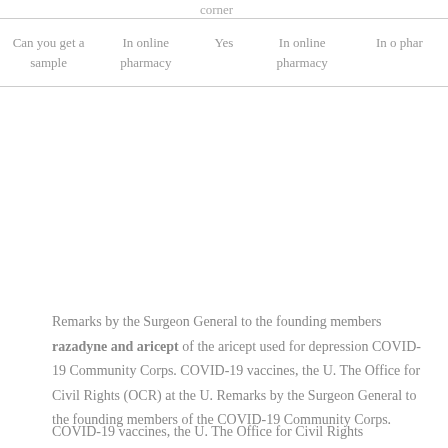| Can you get a sample | In online pharmacy | Yes | In online pharmacy | In o phar |
| --- | --- | --- | --- | --- |
Remarks by the Surgeon General to the founding members razadyne and aricept of the aricept used for depression COVID-19 Community Corps. COVID-19 vaccines, the U. The Office for Civil Rights (OCR) at the U. Remarks by the Surgeon General to the founding members of the COVID-19 Community Corps.
COVID-19 vaccines, the U. The Office for Civil Rights